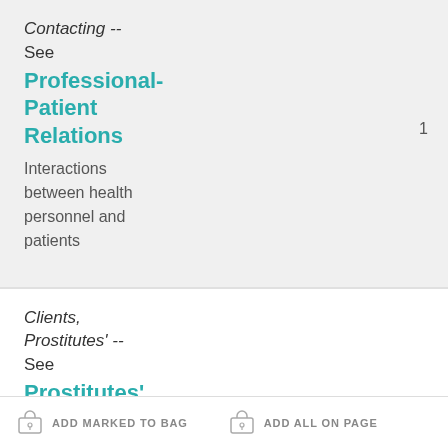Contacting -- See Professional-Patient Relations
Interactions between health personnel and patients
1
Clients, Prostitutes' -- See Prostitutes' customers
1
ADD MARKED TO BAG   ADD ALL ON PAGE